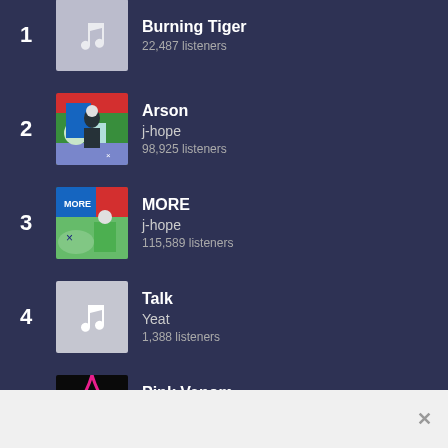1. Burning Tiger — 22,487 listeners
2. Arson — j-hope — 98,925 listeners
3. MORE — j-hope — 115,589 listeners
4. Talk — Yeat — 1,388 listeners
5. Pink Venom — BLACKPINK — 178,800 listeners